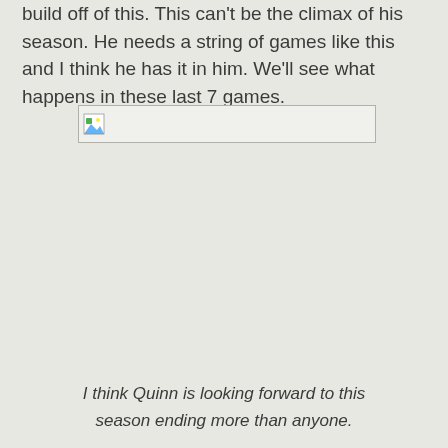build off of this. This can't be the climax of his season. He needs a string of games like this and I think he has it in him. We'll see what happens in these last 7 games.
[Figure (photo): Broken image placeholder — a small image icon with a border indicating a failed image load]
I think Quinn is looking forward to this season ending more than anyone.